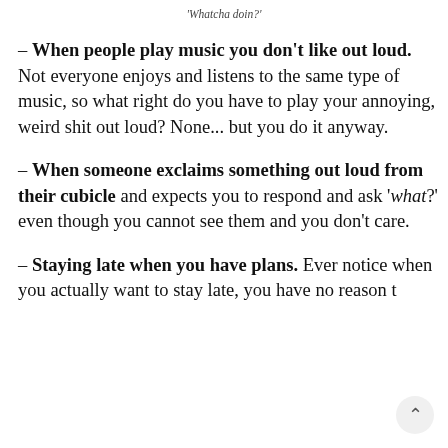'Whatcha doin?'
– When people play music you don't like out loud. Not everyone enjoys and listens to the same type of music, so what right do you have to play your annoying, weird shit out loud? None... but you do it anyway.
– When someone exclaims something out loud from their cubicle and expects you to respond and ask 'what?' even though you cannot see them and you don't care.
– Staying late when you have plans. Ever notice when you actually want to stay late, you have no reason t